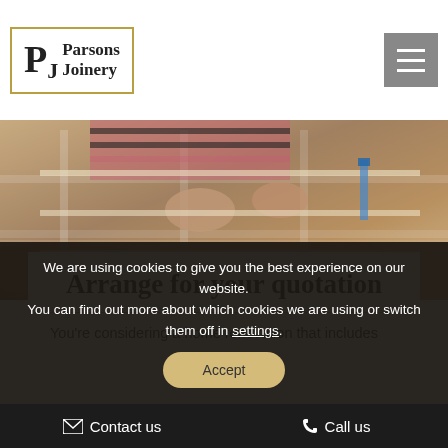[Figure (logo): Parsons Joinery logo with PJ initials in a decorative bordered box]
[Figure (photo): Person working on a window frame, viewed from above, workshop setting]
Arrange for your quotation
You're considering a home renovation that includes
We are using cookies to give you the best experience on our website.
You can find out more about which cookies we are using or switch them off in settings.
Accept
Contact us   Call us